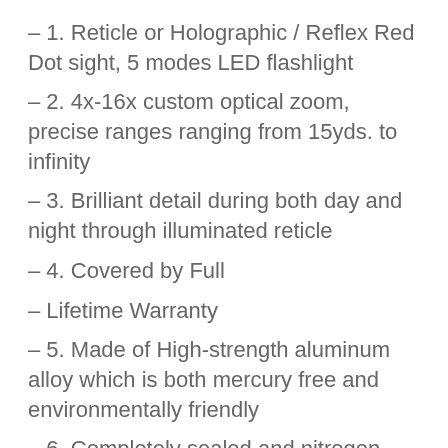– 1. Reticle or Holographic / Reflex Red Dot sight, 5 modes LED flashlight
– 2. 4x-16x custom optical zoom, precise ranges ranging from 15yds. to infinity
– 3. Brilliant detail during both day and night through illuminated reticle
– 4. Covered by Full
– Lifetime Warranty
– 5. Made of High-strength aluminum alloy which is both mercury free and environmentally friendly
– 6. Completely sealed and nitrogen filled makes it 100% fog & water proof
It is a better idea to use a nicer scope before buying nicer rifles. Well, you can wait, but you will want to buy better scopes when the rifle is not doing the job well enough for you after using it for a few hours. The best thing about